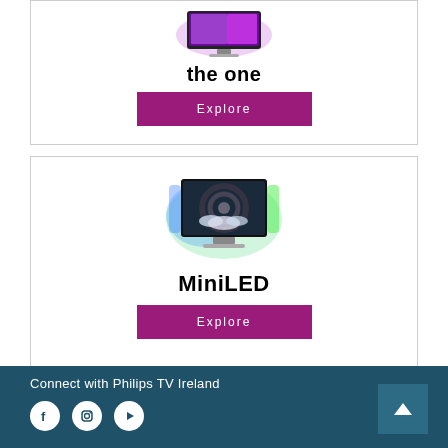[Figure (illustration): TV product card for 'the one' with a purple-lit Philips TV image, bold title text 'the one', and a magenta Explore button]
[Figure (illustration): TV product card for 'MiniLED' with a Philips TV surrounded by colorful ambilight glow, bold title text 'MiniLED', and a magenta Explore button]
Connect with Philips TV Ireland
[Figure (infographic): Three social media icon circles (Facebook, Instagram, YouTube) in white on dark teal footer background]